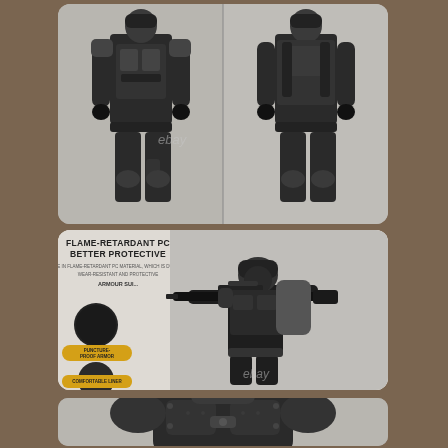[Figure (photo): Two photos of a person in black tactical military armor/uniform and gear shown from front and back, on a brown textured background panel.]
[Figure (infographic): Product infographic panel showing flame-retardant PC armor info. Text: 'FLAME-RETARDANT PC BETTER PROTECTIVE. MADE IN FLAME-RETARDANT PC MATERIAL, WHICH IS DURABLE, WEAR-RESISTANT AND PROTECTIVE. ARMOUR SUI...' A person in black tactical armor aims a rifle. Two circular material detail insets with badges: 'PUNCTURE-PROOF ARMOR' and 'COMFORTABLE LINER'. eBay watermark visible.]
[Figure (photo): Partial photo of black tactical body armor chest piece shown close up, partially cut off at bottom of page.]